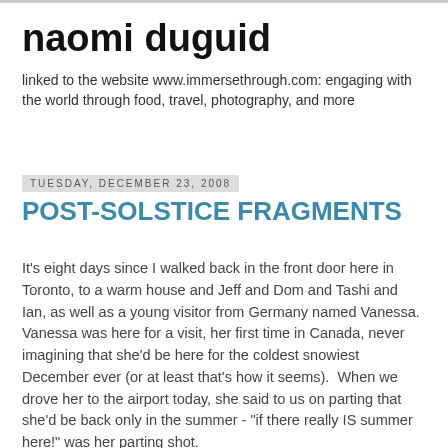naomi duguid
linked to the website www.immersethrough.com: engaging with the world through food, travel, photography, and more
Tuesday, December 23, 2008
POST-SOLSTICE FRAGMENTS
It's eight days since I walked back in the front door here in Toronto, to a warm house and Jeff and Dom and Tashi and Ian, as well as a young visitor from Germany named Vanessa.  Vanessa was here for a visit, her first time in Canada, never imagining that she'd be here for the coldest snowiest December ever (or at least that's how it seems).  When we drove her to the airport today, she said to us on parting that she'd be back only in the summer - "if there really IS summer here!" was her parting shot.
The sun IS coming back, we said feebly.  Solstice is a time